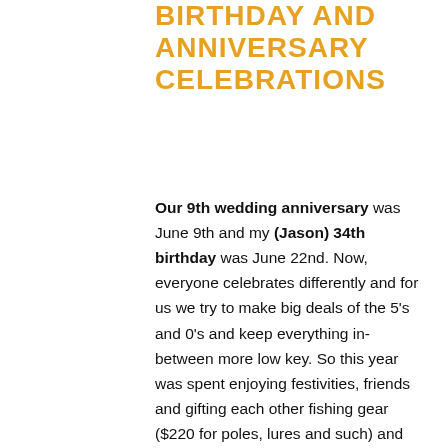BIRTHDAY AND ANNIVERSARY CELEBRATIONS
Our 9th wedding anniversary was June 9th and my (Jason) 34th birthday was June 22nd. Now, everyone celebrates differently and for us we try to make big deals of the 5's and 0's and keep everything in-between more low key. So this year was spent enjoying festivities, friends and gifting each other fishing gear ($220 for poles, lures and such) and Alaska fishing licences ($145 per person). I know it doesn't sound very romantic but it was lots of fun. The big question is, what are we going to do next year for the big 10 year